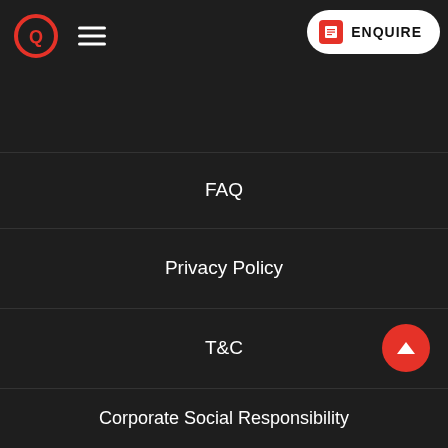Bela Vista, São Paulo, SP CEP, 01311-927 T: +55 (11) 2730 1066
FAQ
Privacy Policy
T&C
Corporate Social Responsibility